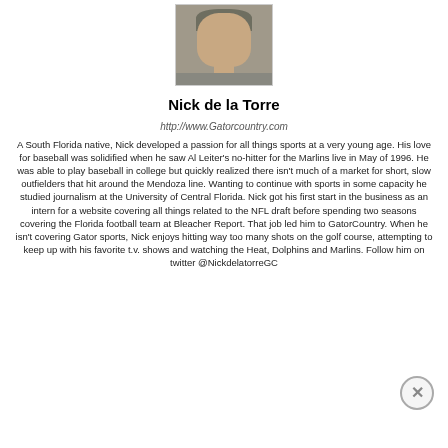[Figure (photo): Headshot photo of Nick de la Torre, a man with short gray-brown hair, smiling, wearing a gray shirt]
Nick de la Torre
http://www.Gatorcountry.com
A South Florida native, Nick developed a passion for all things sports at a very young age. His love for baseball was solidified when he saw Al Leiter's no-hitter for the Marlins live in May of 1996. He was able to play baseball in college but quickly realized there isn't much of a market for short, slow outfielders that hit around the Mendoza line. Wanting to continue with sports in some capacity he studied journalism at the University of Central Florida. Nick got his first start in the business as an intern for a website covering all things related to the NFL draft before spending two seasons covering the Florida football team at Bleacher Report. That job led him to GatorCountry. When he isn't covering Gator sports, Nick enjoys hitting way too many shots on the golf course, attempting to keep up with his favorite t.v. shows and watching the Heat, Dolphins and Marlins. Follow him on twitter @NickdelatorreGC